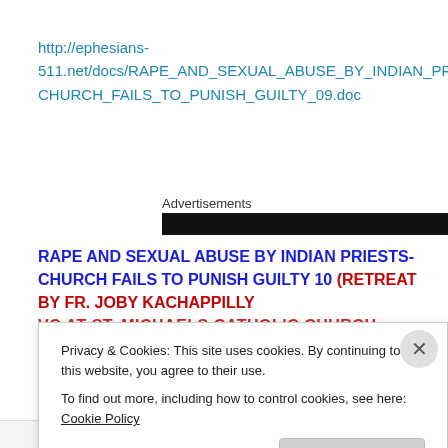http://ephesians-511.net/docs/RAPE_AND_SEXUAL_ABUSE_BY_INDIAN_PRIESTS-CHURCH_FAILS_TO_PUNISH_GUILTY_09.doc
Advertisements
RAPE AND SEXUAL ABUSE BY INDIAN PRIESTS-CHURCH FAILS TO PUNISH GUILTY 10 (RETREAT BY FR. JOBY KACHAPPILLY VC AT ST. MICHAELS CATHOLIC CHURCH, SHARJAH
Privacy & Cookies: This site uses cookies. By continuing to use this website, you agree to their use.
To find out more, including how to control cookies, see here: Cookie Policy